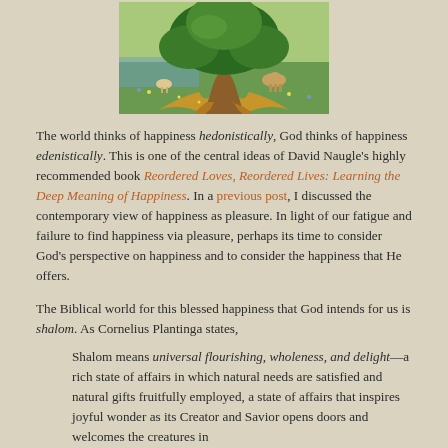[Figure (illustration): Illustrated image of a large tree with golden/amber roots and trunk, surrounded by lush green foliage and animals in a pastoral Eden-like scene.]
The world thinks of happiness hedonistically, God thinks of happiness edenistically. This is one of the central ideas of David Naugle's highly recommended book Reordered Loves, Reordered Lives: Learning the Deep Meaning of Happiness. In a previous post, I discussed the contemporary view of happiness as pleasure. In light of our fatigue and failure to find happiness via pleasure, perhaps its time to consider God's perspective on happiness and to consider the happiness that He offers.
The Biblical world for this blessed happiness that God intends for us is shalom. As Cornelius Plantinga states,
Shalom means universal flourishing, wholeness, and delight—a rich state of affairs in which natural needs are satisfied and natural gifts fruitfully employed, a state of affairs that inspires joyful wonder as its Creator and Savior opens doors and welcomes the creatures in